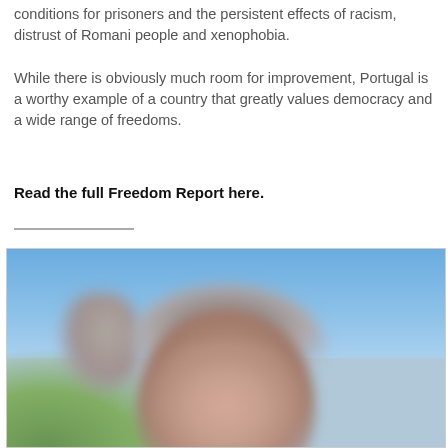conditions for prisoners and the persistent effects of racism, distrust of Romani people and xenophobia.
While there is obviously much room for improvement, Portugal is a worthy example of a country that greatly values democracy and a wide range of freedoms.
Read the full Freedom Report here.
[Figure (photo): Portrait photo of a person with gray hair against a blue sky background with green foliage visible at lower left. Image appears blurred/pixelated.]